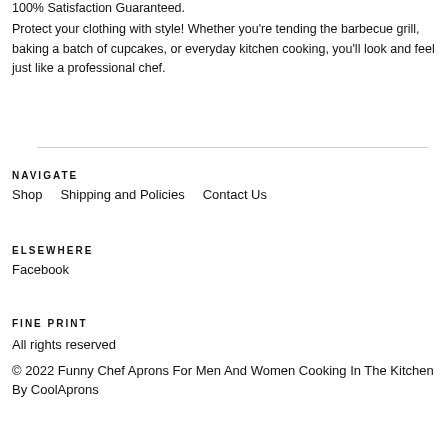100% Satisfaction Guaranteed.
Protect your clothing with style! Whether you're tending the barbecue grill, baking a batch of cupcakes, or everyday kitchen cooking, you'll look and feel just like a professional chef.
NAVIGATE
Shop    Shipping and Policies    Contact Us
ELSEWHERE
Facebook
FINE PRINT
All rights reserved
© 2022 Funny Chef Aprons For Men And Women Cooking In The Kitchen By CoolAprons